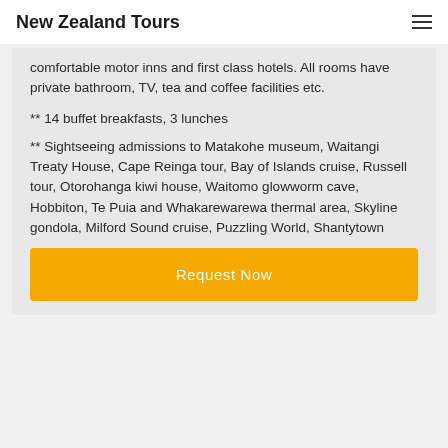New Zealand Tours
comfortable motor inns and first class hotels. All rooms have private bathroom, TV, tea and coffee facilities etc.
** 14 buffet breakfasts, 3 lunches
** Sightseeing admissions to Matakohe museum, Waitangi Treaty House, Cape Reinga tour, Bay of Islands cruise, Russell tour, Otorohanga kiwi house, Waitomo glowworm cave, Hobbiton, Te Puia and Whakarewarewa thermal area, Skyline gondola, Milford Sound cruise, Puzzling World, Shantytown
Request Now